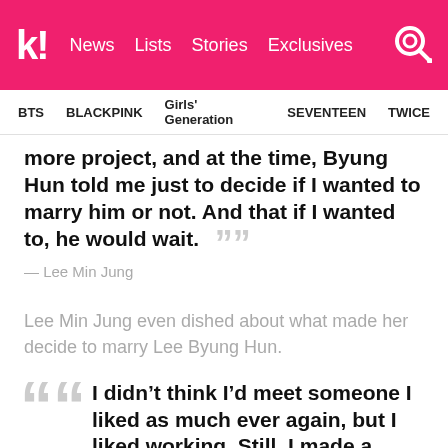Koreaboo | News | Lists | Stories | Exclusives
BTS | BLACKPINK | Girls' Generation | SEVENTEEN | TWICE
more project, and at the time, Byung Hun told me just to decide if I wanted to marry him or not. And that if I wanted to, he would wait. ””
— Lee Min Jung
Lee Min Jung even dished about what made her decide to marry Lee Byung Hun.
““ I didn’t think I’d meet someone I liked as much ever again, but I liked working. Still, I made a decision. If I